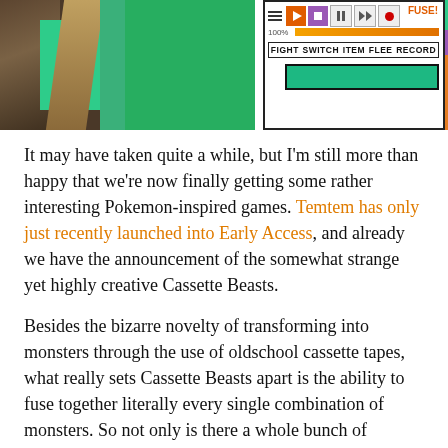[Figure (screenshot): Screenshot of a Pokemon-inspired game (Cassette Beasts / Temtem style) showing a battle UI with FIGHT, SWITCH, ITEM, FLEE, RECORD buttons, a health bar, play/pause/record controls, and colorful stylized backgrounds.]
It may have taken quite a while, but I'm still more than happy that we're now finally getting some rather interesting Pokemon-inspired games. Temtem has only just recently launched into Early Access, and already we have the announcement of the somewhat strange yet highly creative Cassette Beasts.
Besides the bizarre novelty of transforming into monsters through the use of oldschool cassette tapes, what really sets Cassette Beasts apart is the ability to fuse together literally every single combination of monsters. So not only is there a whole bunch of abilities and elemental weaknesses to worry about in the base set, but there's also a sizable amount of 'hidden' monsters to experiment with. A pretty cool concept, I have to admit!
If you're a little bit confused, however, allow me to share